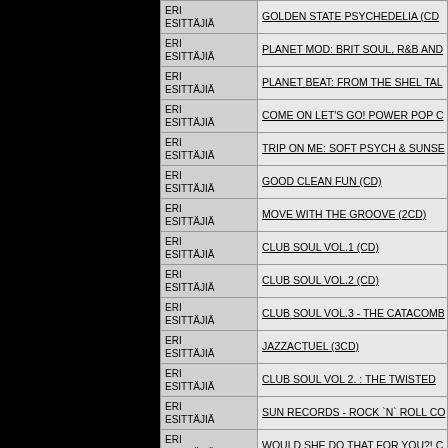| Type | Title |
| --- | --- |
| ERI ESITTÄJIÄ | GOLDEN STATE PSYCHEDELIA (CD |
| ERI ESITTÄJIÄ | PLANET MOD: BRIT SOUL, R&B AND |
| ERI ESITTÄJIÄ | PLANET BEAT: FROM THE SHEL TAL |
| ERI ESITTÄJIÄ | COME ON LET'S GO! POWER POP C |
| ERI ESITTÄJIÄ | TRIP ON ME: SOFT PSYCH & SUNSE |
| ERI ESITTÄJIÄ | GOOD CLEAN FUN (CD) |
| ERI ESITTÄJIÄ | MOVE WITH THE GROOVE (2CD) |
| ERI ESITTÄJIÄ | CLUB SOUL VOL.1 (CD) |
| ERI ESITTÄJIÄ | CLUB SOUL VOL.2 (CD) |
| ERI ESITTÄJIÄ | CLUB SOUL VOL.3 - THE CATACOMB |
| ERI ESITTÄJIÄ | JAZZACTUEL (3CD) |
| ERI ESITTÄJIÄ | CLUB SOUL VOL 2. : THE TWISTED |
| ERI ESITTÄJIÄ | SUN RECORDS - ROCK `N` ROLL CO |
| ERI ESITTÄJIÄ | WOULD SHE DO THAT FOR YOU?! C |
| ERI ESITTÄJIÄ | SHE'S ALL RIGHT WITH ME! GIRL GR |
| ERI ESITTÄJIÄ | LOOK BUT DON'T TOUCH! GIRL GRO |
| ERI ESITTÄJIÄ | TOTALEMENT CHIC! (SLIPCASE) |
| ERI ESITTÄJIÄ | CLASSIC 45s - Peace and Love (10x7 |